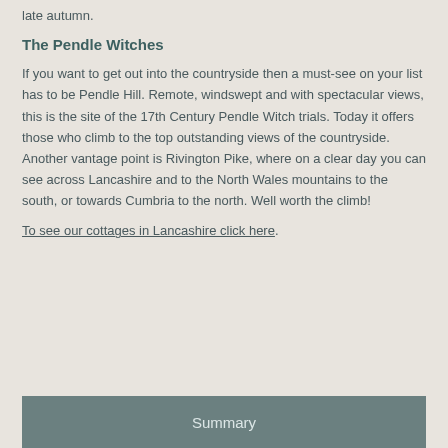late autumn.
The Pendle Witches
If you want to get out into the countryside then a must-see on your list has to be Pendle Hill. Remote, windswept and with spectacular views, this is the site of the 17th Century Pendle Witch trials. Today it offers those who climb to the top outstanding views of the countryside. Another vantage point is Rivington Pike, where on a clear day you can see across Lancashire and to the North Wales mountains to the south, or towards Cumbria to the north. Well worth the climb!
To see our cottages in Lancashire click here.
Summary